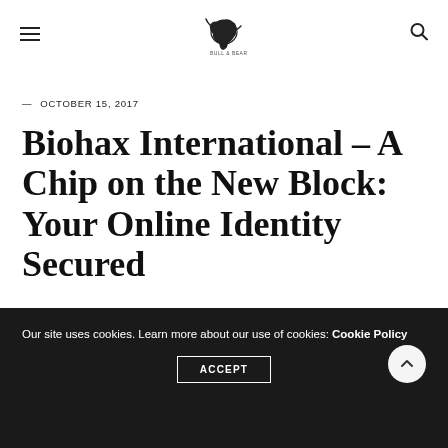≡ [logo] 🔍
— OCTOBER 15, 2017
Biohax International – A Chip on the New Block: Your Online Identity Secured
Our site uses cookies. Learn more about our use of cookies: Cookie Policy
ACCEPT